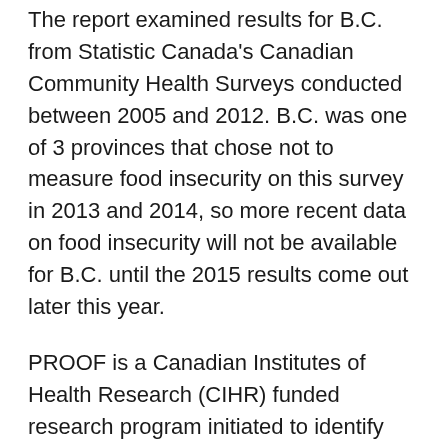The report examined results for B.C. from Statistic Canada's Canadian Community Health Surveys conducted between 2005 and 2012. B.C. was one of 3 provinces that chose not to measure food insecurity on this survey in 2013 and 2014, so more recent data on food insecurity will not be available for B.C. until the 2015 results come out later this year.
PROOF is a Canadian Institutes of Health Research (CIHR) funded research program initiated to identify effective policy interventions to address household food insecurity. The full report on food insecurity in British Columbia is available to